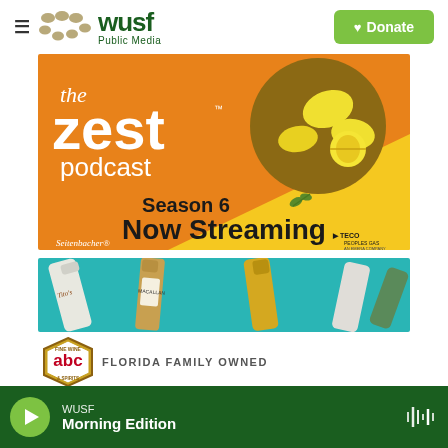WUSF Public Media — Donate
[Figure (screenshot): The Zest Podcast Season 6 Now Streaming banner with lemons image, Seitenbacher and TECO Peoples Gas sponsor logos]
[Figure (photo): Liquor bottles on teal background — Tito's, Macallan, and other spirit bottles arranged diagonally]
[Figure (logo): ABC Fine Wine & Spirits badge logo with text FLORIDA FAMILY OWNED]
WUSF — Morning Edition (audio player bar)